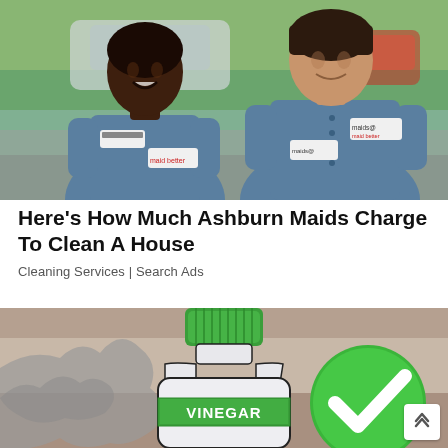[Figure (photo): Two women wearing blue uniforms/work shirts with name tags and company logos, smiling outdoors near a vehicle. They appear to be cleaning service workers.]
Here’s How Much Ashburn Maids Charge To Clean A House
Cleaning Services | Search Ads
[Figure (illustration): Illustration of a vinegar bottle with a green cap and green label band with the word VINEGAR, alongside a large green circle with a white checkmark. A gray map silhouette is partially visible on the left.]